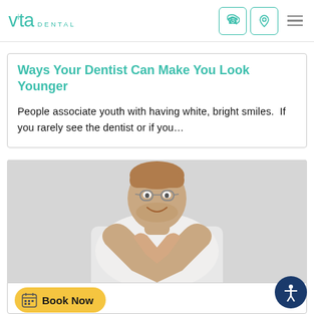vita DENTAL
Ways Your Dentist Can Make You Look Younger
People associate youth with having white, bright smiles.  If you rarely see the dentist or if you…
[Figure (photo): A smiling man with glasses making a heart shape with his hands, wearing a white t-shirt against a grey background]
Are Dental Implants Safe?
Book Now